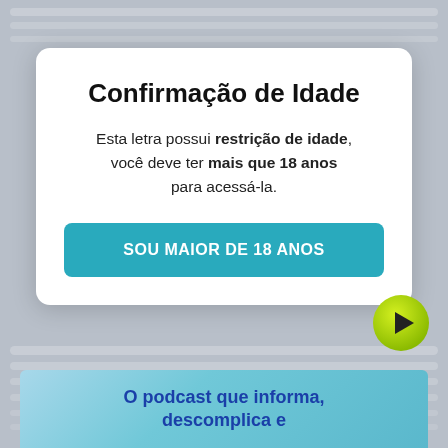[Figure (screenshot): Blurred background content of a webpage with text lines]
Confirmação de Idade
Esta letra possui restrição de idade, você deve ter mais que 18 anos para acessá-la.
SOU MAIOR DE 18 ANOS
[Figure (illustration): Green circular play button icon in bottom right]
O podcast que informa, descomplica e